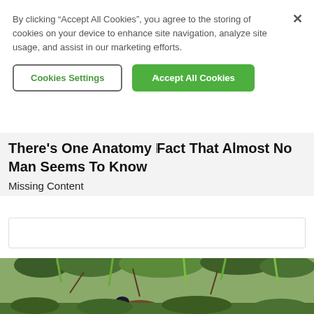By clicking “Accept All Cookies”, you agree to the storing of cookies on your device to enhance site navigation, analyze site usage, and assist in our marketing efforts.
Cookies Settings
Accept All Cookies
There’s One Anatomy Fact That Almost No Man Seems To Know
Missing Content
[Figure (photo): Outdoor nature scene showing green plants/shrubs with a bird or small animal partially visible at the bottom, photographed in natural light.]